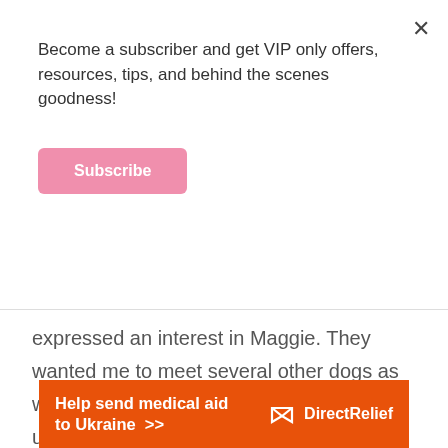Become a subscriber and get VIP only offers, resources, tips, and behind the scenes goodness!
Subscribe
expressed an interest in Maggie. They wanted me to meet several other dogs as well to see which one was the right fit for us. We met four puppies that night and I knew that Maggie was ours. She was drawn to us while the others walked away. There was something about her that I just loved. Her name at the shelter was
[Figure (other): Orange advertisement banner reading 'Help send medical aid to Ukraine >>' with Direct Relief logo on right side]